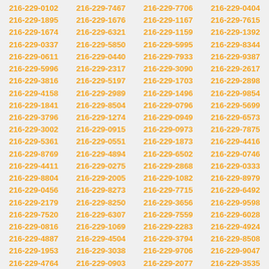| 216-229-0102 | 216-229-7467 | 216-229-7706 | 216-229-0404 |
| 216-229-1895 | 216-229-1676 | 216-229-1167 | 216-229-7615 |
| 216-229-1674 | 216-229-6321 | 216-229-1159 | 216-229-1392 |
| 216-229-0337 | 216-229-5850 | 216-229-5995 | 216-229-8344 |
| 216-229-0611 | 216-229-0440 | 216-229-7933 | 216-229-9387 |
| 216-229-5996 | 216-229-2317 | 216-229-3090 | 216-229-2617 |
| 216-229-3816 | 216-229-5197 | 216-229-1703 | 216-229-2898 |
| 216-229-4158 | 216-229-2989 | 216-229-1496 | 216-229-9854 |
| 216-229-1841 | 216-229-8504 | 216-229-0796 | 216-229-5699 |
| 216-229-3796 | 216-229-1274 | 216-229-0949 | 216-229-6573 |
| 216-229-3002 | 216-229-0915 | 216-229-0973 | 216-229-7875 |
| 216-229-5361 | 216-229-0551 | 216-229-1873 | 216-229-4416 |
| 216-229-8769 | 216-229-4894 | 216-229-6502 | 216-229-0746 |
| 216-229-4411 | 216-229-0275 | 216-229-2868 | 216-229-0333 |
| 216-229-8804 | 216-229-2005 | 216-229-1082 | 216-229-8979 |
| 216-229-0456 | 216-229-8273 | 216-229-7715 | 216-229-6492 |
| 216-229-2179 | 216-229-8250 | 216-229-3656 | 216-229-9598 |
| 216-229-7520 | 216-229-6307 | 216-229-7559 | 216-229-6028 |
| 216-229-0816 | 216-229-1069 | 216-229-2283 | 216-229-4924 |
| 216-229-4887 | 216-229-4504 | 216-229-3794 | 216-229-8508 |
| 216-229-1953 | 216-229-3038 | 216-229-9706 | 216-229-9047 |
| 216-229-4764 | 216-229-0903 | 216-229-2077 | 216-229-3535 |
| 216-229-9909 | 216-229-5174 | 216-229-2164 | 216-229-1903 |
| 216-229-9479 | 216-229-1700 | 216-229-5033 | 216-229-5086 |
| 216-229-7306 | 216-229-3964 | 216-229-3433 | 216-229-6346 |
| 216-229-1638 | 216-229-6679 | 216-229-2792 | 216-229-6349 |
| 216-229-2992 | 216-229-4659 | 216-229-5178 | 216-229-7161 |
| 216-229-1184 | 216-229-6618 | 216-229-8526 | 216-229-8429 |
| 216-229-4219 | 216-229-5293 | 216-229-1160 | 216-229-3550 |
| 216-229-4664 | 216-229-9921 | 216-229-4313 | 216-229-0842 |
| 216-229-2760 | 216-229-0462 | 216-229-3188 | 216-229-5307 |